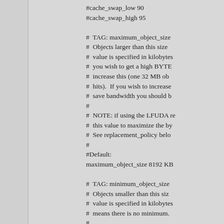#cache_swap_low 90
#cache_swap_high 95

#  TAG: maximum_object_size
#  Objects larger than this size
#  value is specified in kilobytes
#  you wish to get a high BYTE
#  increase this (one 32 MB ob
#  hits).  If you wish to increase
#  save bandwidth you should b
#
#  NOTE: if using the LFUDA re
#  this value to maximize the by
#  See replacement_policy belo
#
#Default:
maximum_object_size 8192 KB

#  TAG: minimum_object_size
#  Objects smaller than this siz
#  value is specified in kilobytes
#  means there is no minimum.
#
#Default:
# minimum_object_size 0 KB